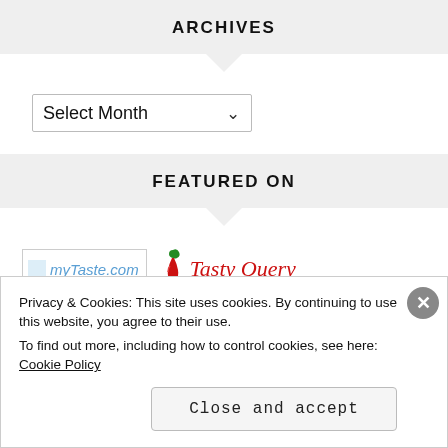ARCHIVES
Select Month
FEATURED ON
[Figure (logo): myTaste.com logo and Tasty Query logo with chili pepper icon]
Privacy & Cookies: This site uses cookies. By continuing to use this website, you agree to their use.
To find out more, including how to control cookies, see here: Cookie Policy
Close and accept